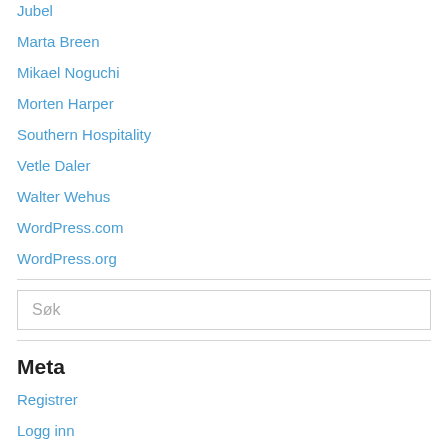Jubel
Marta Breen
Mikael Noguchi
Morten Harper
Southern Hospitality
Vetle Daler
Walter Wehus
WordPress.com
WordPress.org
Søk
Meta
Registrer
Logg inn
Entries feed